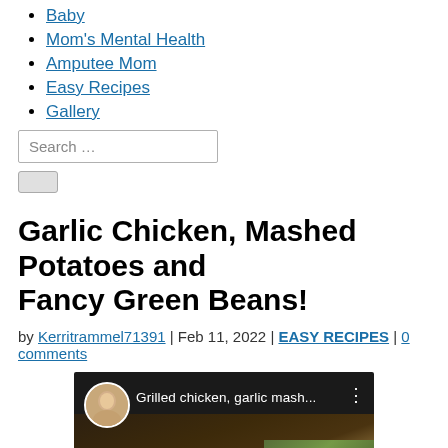Baby
Mom's Mental Health
Amputee Mom
Easy Recipes
Gallery
Search …
Garlic Chicken, Mashed Potatoes and Fancy Green Beans!
by Kerritrammel71391 | Feb 11, 2022 | EASY RECIPES | 0 comments
[Figure (screenshot): YouTube video thumbnail showing a plate of grilled chicken, garlic mashed potatoes, and green beans. A woman's avatar is top-left. Text reads 'Grilled chicken, garlic mash...' with a red play button in the center.]